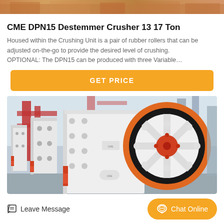[Figure (photo): Top decorative image strip showing machinery/equipment in warm orange tones]
CME DPN15 Destemmer Crusher 13 17 Ton
Housed within the Crushing Unit is a pair of rubber rollers that can be adjusted on-the-go to provide the desired level of crushing. OPTIONAL: The DPN15 can be produced with three Variable…
[Figure (other): GET PRICE orange button]
[Figure (photo): Industrial crusher machine with large red and black flywheel, white metal body with bolt holes, set in a factory environment with red structural steel in the background]
Leave Message
Chat Online